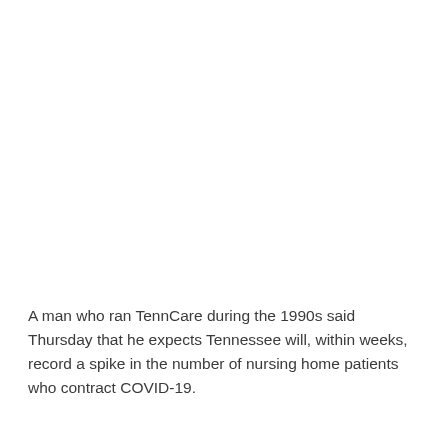A man who ran TennCare during the 1990s said Thursday that he expects Tennessee will, within weeks, record a spike in the number of nursing home patients who contract COVID-19.